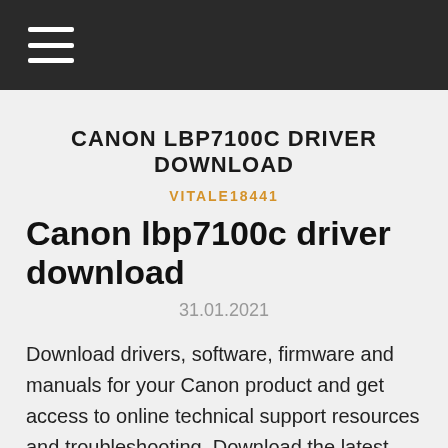☰ (navigation menu icon)
CANON LBP7100C DRIVER DOWNLOAD
VITALE18441
Canon lbp7100c driver download
31.01.2021
Download drivers, software, firmware and manuals for your Canon product and get access to online technical support resources and troubleshooting. Download the latest drivers for your Canon LBP7100C/7110C to keep your Computer up-to-date. Canon Professional Services Downloads & Help. Szukasz pomocy technicznej dla firm Business Support. Product